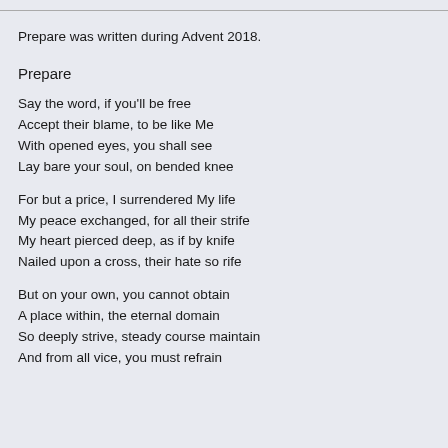Prepare was written during Advent 2018.
Prepare
Say the word, if you'll be free
Accept their blame, to be like Me
With opened eyes, you shall see
Lay bare your soul, on bended knee
For but a price, I surrendered My life
My peace exchanged, for all their strife
My heart pierced deep, as if by knife
Nailed upon a cross, their hate so rife
But on your own, you cannot obtain
A place within, the eternal domain
So deeply strive, steady course maintain
And from all vice, you must refrain